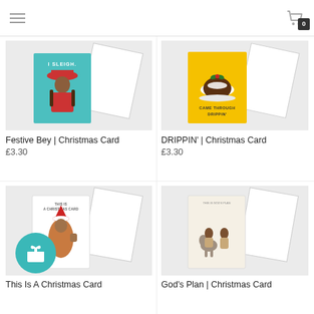Navigation header with hamburger menu and cart icon showing 0 items
[Figure (photo): Festive Bey Christmas card product photo - teal card with illustrated figure in red hat and white envelope]
Festive Bey | Christmas Card
£3.30
[Figure (photo): DRIPPIN' Christmas card product photo - yellow card with Christmas pudding illustration and white envelope]
DRIPPIN' | Christmas Card
£3.30
[Figure (photo): This Is A Christmas Card product photo - white card with illustrated figure in Santa hat and white envelope]
This Is A Christmas Card
[Figure (photo): God's Plan Christmas card product photo - cream card with illustrated figures and white envelope]